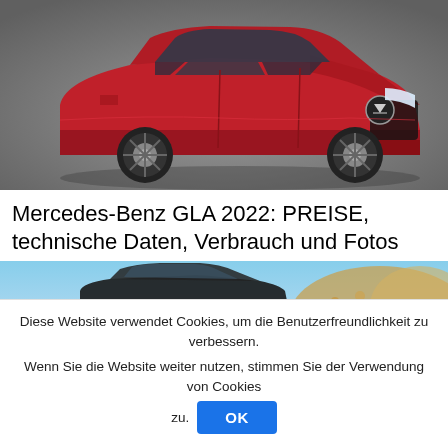[Figure (photo): Red Mercedes-Benz GLA 2022 SUV photographed from the front-left angle on a grey gradient background]
Mercedes-Benz GLA 2022: PREISE, technische Daten, Verbrauch und Fotos
[Figure (photo): Close-up of a car driving through sandy/dusty terrain with bright sunlight]
Diese Website verwendet Cookies, um die Benutzerfreundlichkeit zu verbessern. Wenn Sie die Website weiter nutzen, stimmen Sie der Verwendung von Cookies zu.